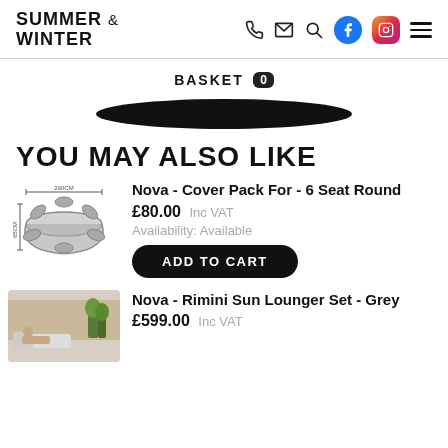SUMMER & WINTER
BASKET 0
YOU MAY ALSO LIKE
[Figure (photo): Product image of a round patio furniture cover set, grey, with dimension arrows showing 260CM width and 65CM height]
Nova - Cover Pack For - 6 Seat Round
£80.00 Inc VAT
Availability: Available
ADD TO CART
[Figure (photo): Photo of an outdoor sun lounger set in a garden setting, Nova Rimini Sun Lounger Set Grey]
Nova - Rimini Sun Lounger Set - Grey
£599.00 Inc VAT